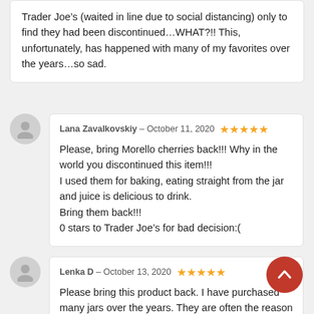Trader Joe’s (waited in line due to social distancing) only to find they had been discontinued…WHAT?!! This, unfortunately, has happened with many of my favorites over the years…so sad.
Lana Zavalkovskiy – October 11, 2020 ★★★★★
Please, bring Morello cherries back!!! Why in the world you discontinued this item!!! I used them for baking, eating straight from the jar and juice is delicious to drink. Bring them back!!! 0 stars to Trader Joe’s for bad decision:(
Lenka D – October 13, 2020 ★★★★★
Please bring this product back. I have purchased many jars over the years. They are often the reason I go to Trader Joe’s, and end up spending money on all kinds of other goodies. They are amazing for baking.